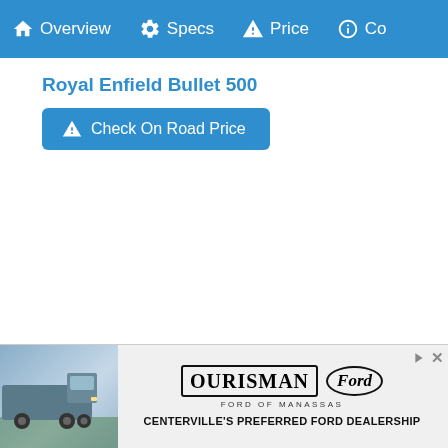Overview  Specs  Price  Co
Royal Enfield Bullet 500
Check On Road Price
Kawasaki Bajaj Ninja 300
Check On Road Price
[Figure (screenshot): Ourisman Ford of Manassas advertisement banner with truck photo, oval Ford logo, and text CENTERVILLE'S PREFERRED FORD DEALERSHIP]